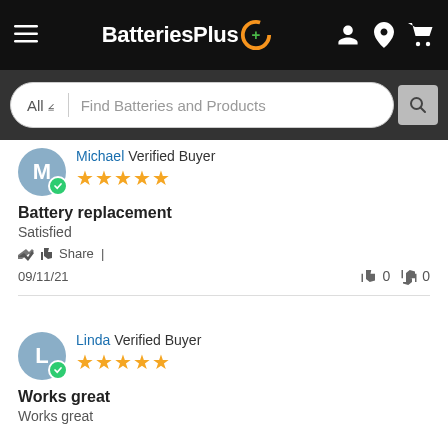BatteriesPlus — navigation header with hamburger menu, logo, account, location, and cart icons
All  Find Batteries and Products — search bar
Michael Verified Buyer — 5 stars — Battery replacement — Satisfied — Share | — 09/11/21 — thumbs up 0 — thumbs down 0
Linda Verified Buyer — 5 stars — Works great — Works great